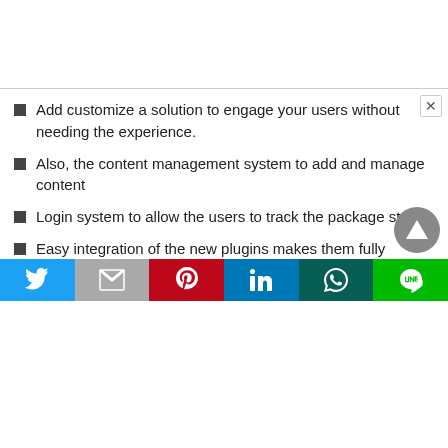Add customize a solution to engage your users without needing the experience.
Also, the content management system to add and manage content
Login system to allow the users to track the package status
Easy integration of the new plugins makes them fully robust.